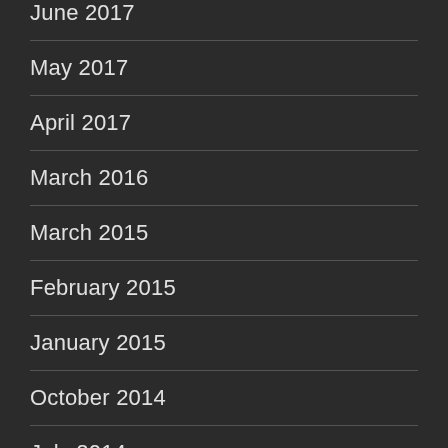June 2017
May 2017
April 2017
March 2016
March 2015
February 2015
January 2015
October 2014
July 2014
May 2014
April 2014
March 2014